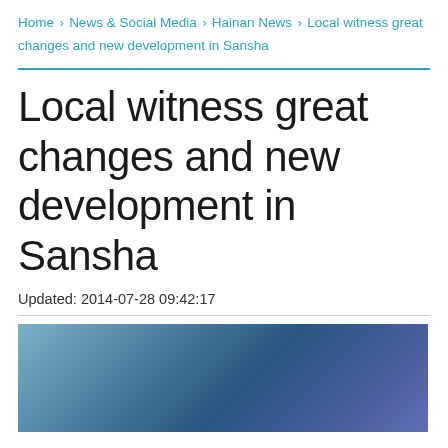Home › News & Social Media › Hainan News › Local witness great changes and new development in Sansha
Local witness great changes and new development in Sansha
Updated: 2014-07-28 09:42:17
[Figure (photo): Partial view of a photo related to Sansha, showing a blue gradient sky/ocean scene]